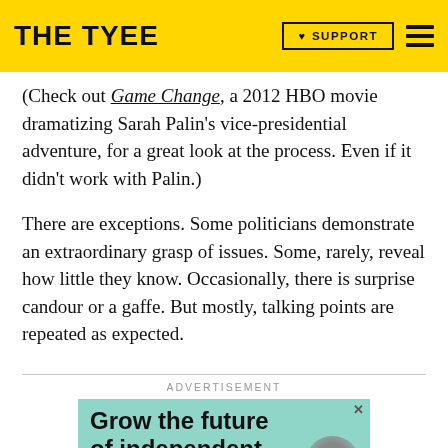THE TYEE | ♥ SUPPORT
(Check out Game Change, a 2012 HBO movie dramatizing Sarah Palin's vice-presidential adventure, for a great look at the process. Even if it didn't work with Palin.)
There are exceptions. Some politicians demonstrate an extraordinary grasp of issues. Some, rarely, reveal how little they know. Occasionally, there is surprise candour or a gaffe. But mostly, talking points are repeated as expected.
ADVERTISEMENT
[Figure (screenshot): Advertisement banner with teal/mint background showing text 'Grow the future of independent' in bold black sans-serif font, with a person's head partially visible at bottom right, and a close X button at top right.]